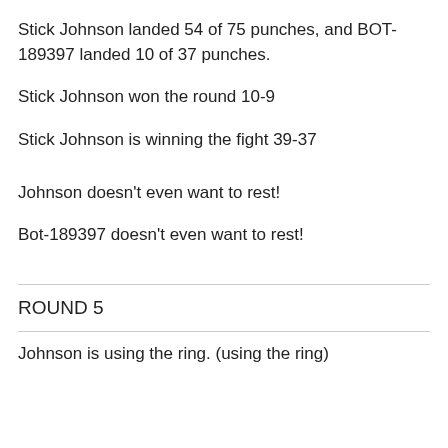Stick Johnson landed 54 of 75 punches, and BOT-189397 landed 10 of 37 punches.
Stick Johnson won the round 10-9
Stick Johnson is winning the fight 39-37
Johnson doesn't even want to rest!
Bot-189397 doesn't even want to rest!
ROUND 5
Johnson is using the ring. (using the ring)